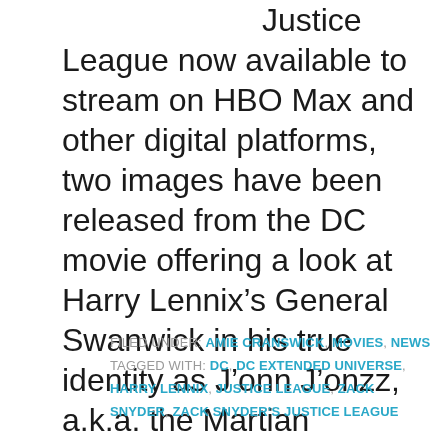Justice League now available to stream on HBO Max and other digital platforms, two images have been released from the DC movie offering a look at Harry Lennix's General Swanwick in his true identity as J’onn J’onzz, a.k.a. the Martian Manhunter; take a look here… SEE ALSO: Read our written review of Zack […]
FILED UNDER: AMIE CRANSWICK, MOVIES, NEWS
TAGGED WITH: DC, DC EXTENDED UNIVERSE, HARRY LENNIX, JUSTICE LEAGUE, ZACK SNYDER, ZACK SNYDER’S JUSTICE LEAGUE